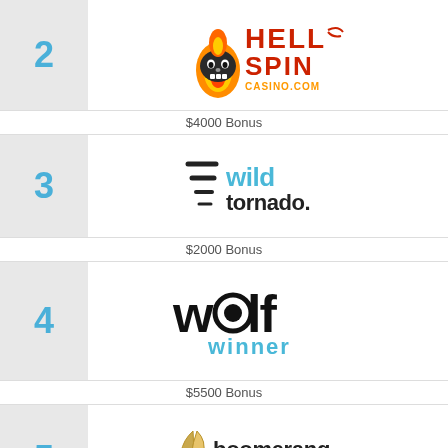[Figure (logo): Hell Spin Casino logo — rank 2]
$4000 Bonus
[Figure (logo): Wild Tornado casino logo — rank 3]
$2000 Bonus
[Figure (logo): Wolf Winner casino logo — rank 4]
$5500 Bonus
[Figure (logo): Boomerang Casino logo — rank 5]
$9000 Bonus